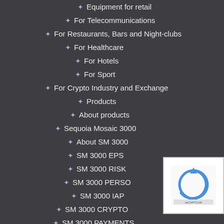Equipment for retail
For Telecommunications
For Restaurants, Bars and Night-clubs
For Healthcare
For Hotels
For Sport
For Crypto Industry and Exchange
Products
About products
Sequoia Mosaic 3000
About SM 3000
SM 3000 EPS
SM 3000 RISK
SM 3000 PERSO
SM 3000 IAP
SM 3000 CRYPTO
SM 3000 PAYMENTS
Hardware
[Figure (other): CAPTCHA verification widget with reCAPTCHA logo]